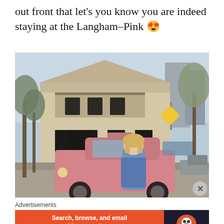out front that let's you know you are indeed staying at the Langham–Pink 😍
[Figure (photo): A woman with blonde hair wearing a denim jacket stands in front of a pink London-style taxi cab on a street. Behind her is a heritage building with balconies and trees. A yellow diamond road sign is visible in the background.]
Advertisements
[Figure (screenshot): DuckDuckGo advertisement banner: orange background on left with text 'Search, browse, and email with more privacy. All in One Free App', dark right panel with DuckDuckGo logo and name.]